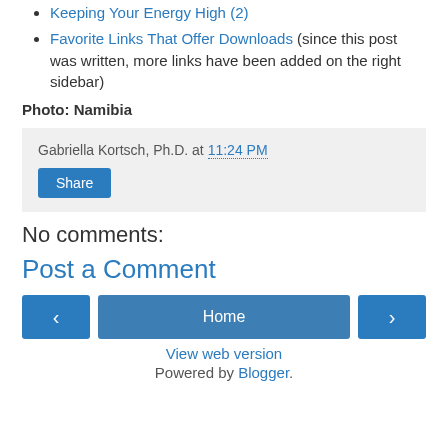Keeping Your Energy High (2)
Favorite Links That Offer Downloads (since this post was written, more links have been added on the right sidebar)
Photo: Namibia
Gabriella Kortsch, Ph.D. at 11:24 PM
Share
No comments:
Post a Comment
‹
Home
›
View web version
Powered by Blogger.